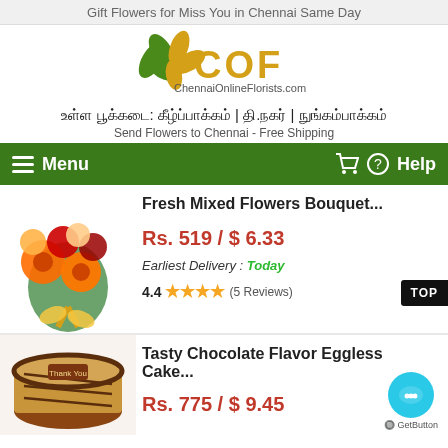Gift Flowers for Miss You in Chennai Same Day
[Figure (logo): COF ChennaiOnlineFlorists.com logo with flower icon]
உள்ள பூக்கடை: கீழ்ப்பாக்கம் | தி.நகர் | நுங்கம்பாக்கம்
Send Flowers to Chennai - Free Shipping
Menu   Help
[Figure (photo): Fresh mixed flowers bouquet with orange gerberas, red roses, and peach roses]
Fresh Mixed Flowers Bouquet...
Rs. 519 / $ 6.33
Earliest Delivery : Today
4.4 ★★★★ (5 Reviews)
[Figure (photo): Tasty Chocolate Flavor Eggless Cake with brown decoration and Thank You tag]
Tasty Chocolate Flavor Eggless Cake...
Rs. 775 / $ 9.45